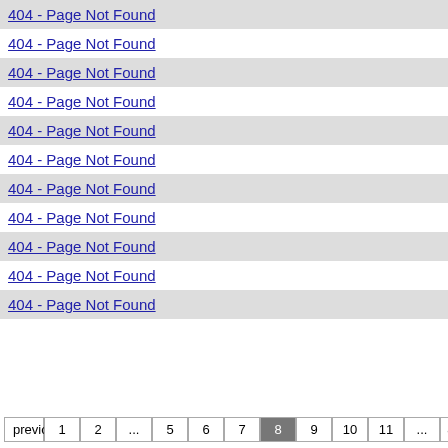404 - Page Not Found
404 - Page Not Found
404 - Page Not Found
404 - Page Not Found
404 - Page Not Found
404 - Page Not Found
404 - Page Not Found
404 - Page Not Found
404 - Page Not Found
404 - Page Not Found
404 - Page Not Found
previous 1 2 ... 5 6 7 8 9 10 11 ... 825 826